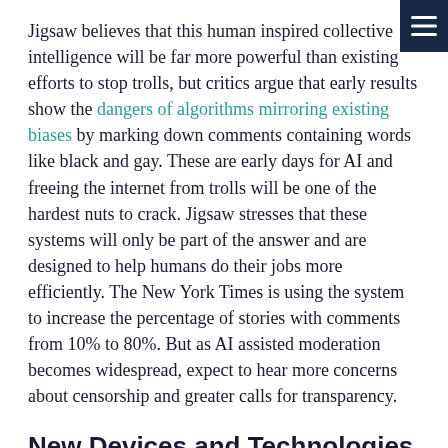Jigsaw believes that this human inspired collective intelligence will be far more powerful than existing efforts to stop trolls, but critics argue that early results show the dangers of algorithms mirroring existing biases by marking down comments containing words like black and gay. These are early days for AI and freeing the internet from trolls will be one of the hardest nuts to crack. Jigsaw stresses that these systems will only be part of the answer and are designed to help humans do their jobs more efficiently. The New York Times is using the system to increase the percentage of stories with comments from 10% to 80%. But as AI assisted moderation becomes widespread, expect to hear more concerns about censorship and greater calls for transparency.
New Devices and Technologies
Intelligent Speakers and the Battle for the Home